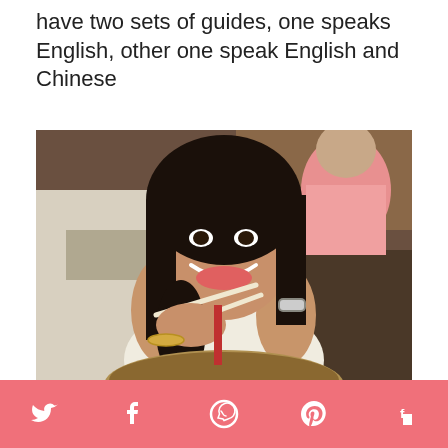have two sets of guides, one speaks English, other one speak English and Chinese
[Figure (photo): A young woman smiling and holding chopsticks with noodles at a restaurant table. She is wearing a white top and a watch, with a bowl of noodle soup in front of her. Other diners and kitchen equipment are visible in the background.]
Social share bar with Twitter, Facebook, WhatsApp, Pinterest, Flipboard icons